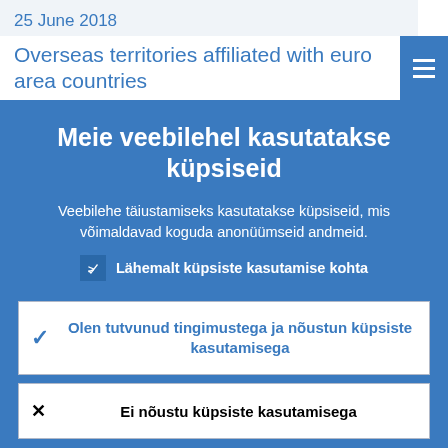25 June 2018
Overseas territories affiliated with euro area countries
Meie veebilehel kasutatakse küpsiseid
Veebilehe täiustamiseks kasutatakse küpsiseid, mis võimaldavad koguda anonüümseid andmeid.
Lähemalt küpsiste kasutamise kohta
Olen tutvunud tingimustega ja nõustun küpsiste kasutamisega
Ei nõustu küpsiste kasutamisega